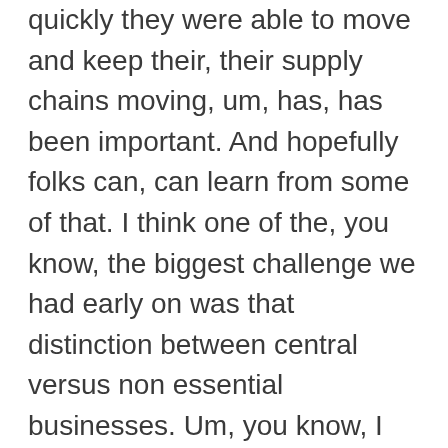quickly they were able to move and keep their, their supply chains moving, um, has, has been important. And hopefully folks can, can learn from some of that. I think one of the, you know, the biggest challenge we had early on was that distinction between central versus non essential businesses. Um, you know, I think one of the messages is we're trying to put out there as well, is that as long as you are a business that is operating safely and ensuring you've got the right protection, protective measures in place for your, your workers and your